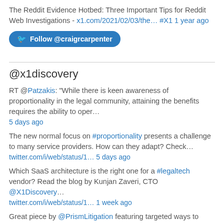The Reddit Evidence Hotbed: Three Important Tips for Reddit Web Investigations - x1.com/2021/02/03/the… #X1 1 year ago
Follow @craigrcarpenter
@x1discovery
RT @Patzakis: "While there is keen awareness of proportionality in the legal community, attaining the benefits requires the ability to oper…
5 days ago
The new normal focus on #proportionality presents a challenge to many service providers. How can they adapt? Check…
twitter.com/i/web/status/1… 5 days ago
Which SaaS architecture is the right one for a #legaltech vendor? Read the blog by Kunjan Zaveri, CTO @X1Discovery…
twitter.com/i/web/status/1… 1 week ago
Great piece by @PrismLitigation featuring targeted ways to leverage